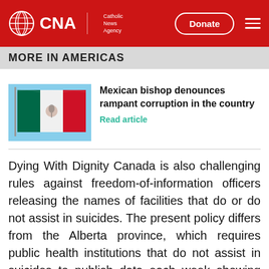CNA | Catholic News Agency
MORE IN AMERICAS
[Figure (photo): Mexican flag waving against a blue sky]
Mexican bishop denounces rampant corruption in the country
Read article
Dying With Dignity Canada is also challenging rules against freedom-of-information officers releasing the names of facilities that do or do not assist in suicides. The present policy differs from the Alberta province, which requires public health institutions that do not assist in suicides to publish data each week showing how many patients are transferred for medically assisted